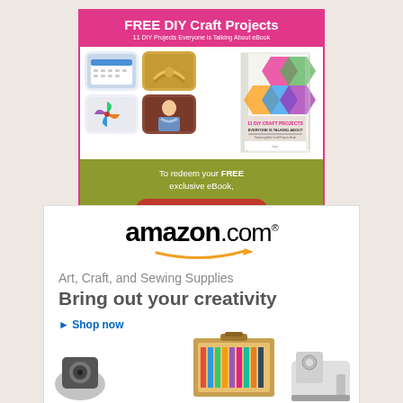[Figure (infographic): FaveCrafts advertisement for free DIY Craft Projects eBook. Pink header reads 'FREE DIY Craft Projects' with subtitle '11 DIY Projects Everyone is Talking About eBook'. Below are craft project thumbnail images (calendar, knitting, pinwheel, woman with scarf) and a book mockup. Olive green section says 'To redeem your FREE exclusive eBook,' with a red 'SIGN ME UP!' button. Footer shows 'favecrafts' logo with social icons.]
[Figure (infographic): Amazon.com advertisement for Art, Craft, and Sewing Supplies. Shows the Amazon logo with orange arrow, tagline 'Art, Craft, and Sewing Supplies', headline 'Bring out your creativity', 'Shop now' link, and partial product images of art supply kit and sewing machine.]